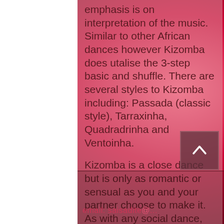emphasis is on interpretation of the music. Similar to other African dances however Kizomba does utalise the 3-step basic and shuffle. There are several styles to Kizomba including: Passada (classic style), Tarraxinha, Quadradrinha and Ventoinha.
Kizomba is a close dance but is only as romantic or sensual as you and your partner choose to make it. As with any social dance, courtesy and respect are basic expectations, so there's no need to feel intimidated on the dance floor!
email: saisadite@...